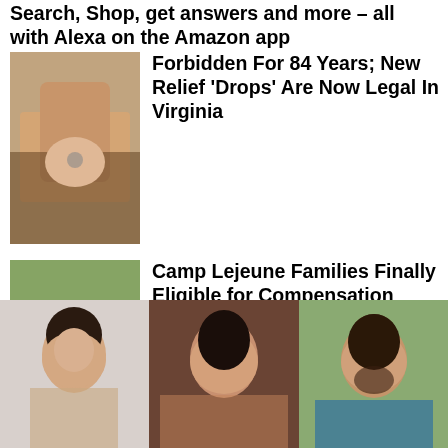Search, Shop, get answers and more – all with Alexa on the Amazon app
[Figure (photo): Close-up of hands holding a small item, dark background]
Forbidden For 84 Years; New Relief ‘Drops’ Are Now Legal In Virginia
[Figure (photo): Camp Lejeune sign reading HOME OF EXPEDITIONARY FORCES IN READINESS with trees behind]
Camp Lejeune Families Finally Eligible for Compensation
[Figure (photo): Three people portraits side by side: woman with dark hair left, smiling woman with dark hair center, man with beard right]